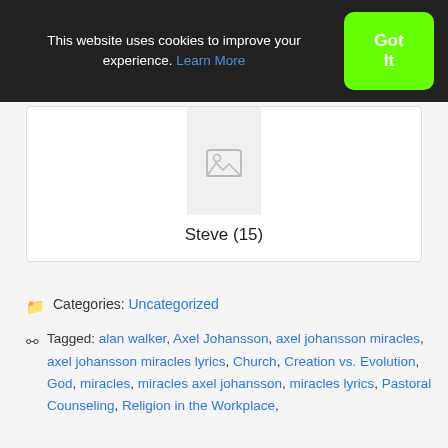This website uses cookies to improve your experience. Learn More
Got It
[Figure (other): Author avatar placeholder image icon]
Steve (15)
Categories: Uncategorized
Tagged: alan walker, Axel Johansson, axel johansson miracles, axel johansson miracles lyrics, Church, Creation vs. Evolution, God, miracles, miracles axel johansson, miracles lyrics, Pastoral Counseling, Religion in the Workplace,